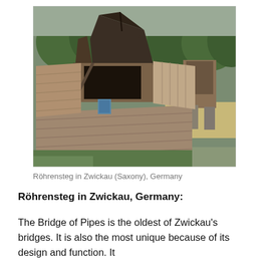[Figure (photo): A historic wooden covered bridge called Röhrensteg in Zwickau, Saxony, Germany. The bridge features a distinctive pyramid-shaped roof over the entrance structure, wooden plank walkway with wooden side walls, and stone piers. Green trees are visible in the background.]
Röhrensteg in Zwickau (Saxony), Germany
Röhrensteg in Zwickau, Germany:
The Bridge of Pipes is the oldest of Zwickau's bridges. It is also the most unique because of its design and function. It